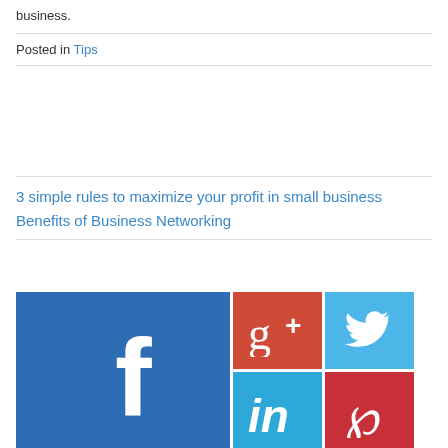business.
Posted in Tips
3 simple rules to maximize your profit in small business
Benefits of Business Networking
[Figure (illustration): Social media icon grid: Facebook (large blue tile with f logo), Google+ (red tile with g+ logo), Twitter (light blue tile with bird logo), LinkedIn (cyan tile with in logo), Pinterest (red tile with P logo)]